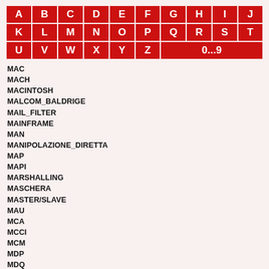| A | B | C | D | E | F | G | H | I | J |
| --- | --- | --- | --- | --- | --- | --- | --- | --- | --- |
| K | L | M | N | O | P | Q | R | S | T |
| U | V | W | X | Y | Z | 0...9 |  |  |  |
MAC
MACH
MACINTOSH
MALCOM_BALDRIGE
MAIL_FILTER
MAINFRAME
MAN
MANIPOLAZIONE_DIRETTA
MAP
MAPI
MARSHALLING
MASCHERA
MASTER/SLAVE
MAU
MCA
MCCI
MCM
MDP
MDQ
MEMORIA_ALTA
MEMORIA_ESPANSA
MEMORIA_ESTESA
MEMORIA_PC
MEMORIA_RISERVATA
MEMORIA_VIRTUALE
MEMORIE